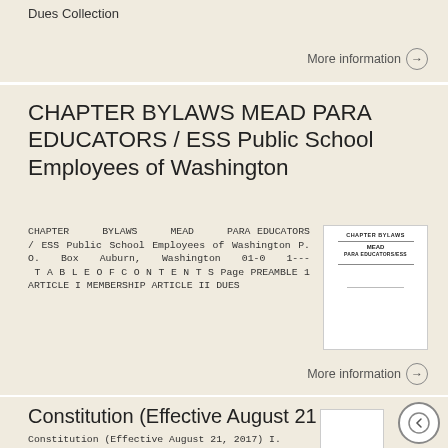Dues Collection
More information →
CHAPTER BYLAWS MEAD PARA EDUCATORS / ESS Public School Employees of Washington
CHAPTER BYLAWS MEAD PARA EDUCATORS / ESS Public School Employees of Washington P. O. Box Auburn, Washington 01-0 1--- T A B L E O F C O N T E N T S Page PREAMBLE 1 ARTICLE I MEMBERSHIP ARTICLE II DUES
[Figure (illustration): Thumbnail of CHAPTER BYLAWS MEAD PARA EDUCATORS/ESS document cover page]
More information →
Constitution (Effective August 21, 2017)
Constitution (Effective August 21, 2017) I. The name of the Association is the American
[Figure (illustration): Thumbnail of Constitution document]